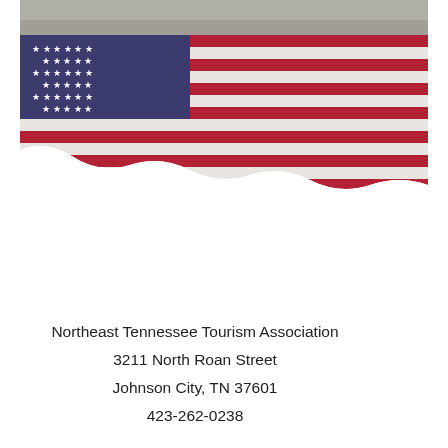[Figure (photo): People holding a large American flag with red, white, and blue stripes and white stars on a blue field, viewed from below/front. The flag billows and curves in a wave shape at the bottom.]
Northeast Tennessee Tourism Association
3211 North Roan Street
Johnson City, TN 37601
423-262-0238